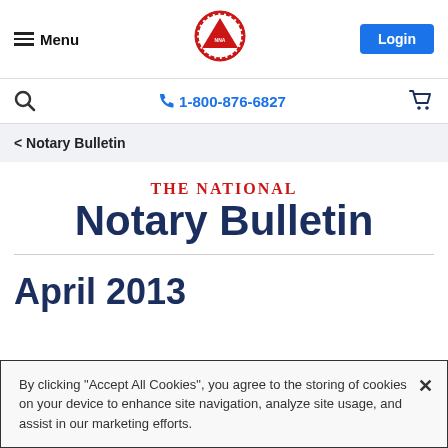Menu | Logo | Login
1-800-876-6827
< Notary Bulletin
THE NATIONAL Notary Bulletin
April 2013
By clicking "Accept All Cookies", you agree to the storing of cookies on your device to enhance site navigation, analyze site usage, and assist in our marketing efforts.